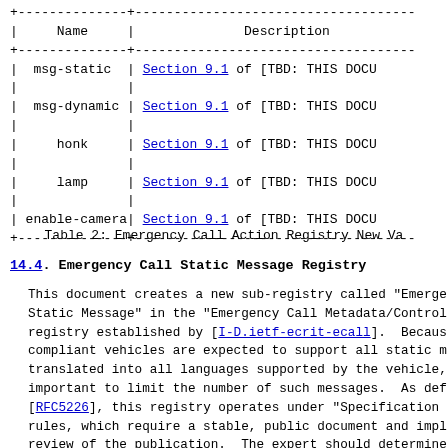| Name | Description |
| --- | --- |
| msg-static | Section 9.1 of [TBD: THIS DOCU |
| msg-dynamic | Section 9.1 of [TBD: THIS DOCU |
| honk | Section 9.1 of [TBD: THIS DOCU |
| lamp | Section 9.1 of [TBD: THIS DOCU |
| enable-camera | Section 9.1 of [TBD: THIS DOCU |
Table 2: Emergency Call Action Registry New Va
14.4. Emergency Call Static Message Registry
This document creates a new sub-registry called "Emerge Static Message" in the "Emergency Call Metadata/Control registry established by [I-D.ietf-ecrit-ecall]. Becaus compliant vehicles are expected to support all static m translated into all languages supported by the vehicle, important to limit the number of such messages. As def [RFC5226], this registry operates under "Specification rules, which require a stable, public document and impl review of the publication. The expert should determine document has been published by an appropriate emergency organization (e.g., NENA, EENA, APCO) or by the IETF wi an emergency services organization, and that the propos sufficiently distinguishable from the